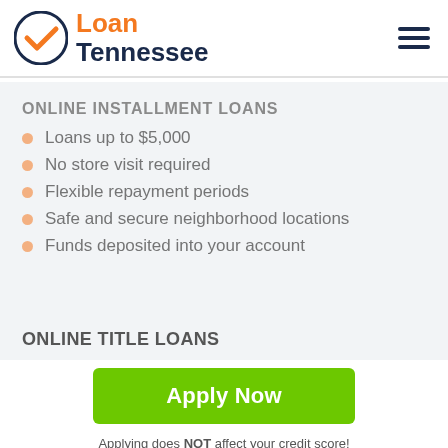[Figure (logo): Loan Tennessee logo with orange checkmark circle and company name in orange/navy]
ONLINE INSTALLMENT LOANS
Loans up to $5,000
No store visit required
Flexible repayment periods
Safe and secure neighborhood locations
Funds deposited into your account
ONLINE TITLE LOANS
Apply Now
Applying does NOT affect your credit score! No credit check to apply.